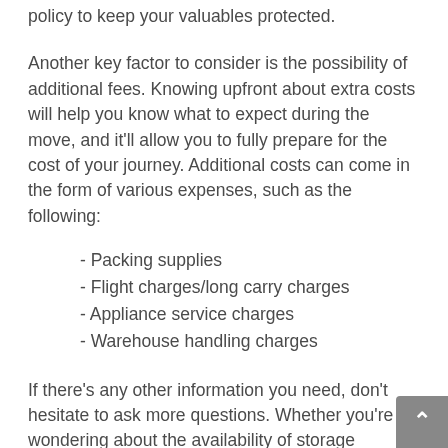policy to keep your valuables protected.
Another key factor to consider is the possibility of additional fees. Knowing upfront about extra costs will help you know what to expect during the move, and it'll allow you to fully prepare for the cost of your journey. Additional costs can come in the form of various expenses, such as the following:
- Packing supplies
- Flight charges/long carry charges
- Appliance service charges
- Warehouse handling charges
If there's any other information you need, don't hesitate to ask more questions. Whether you're wondering about the availability of storage